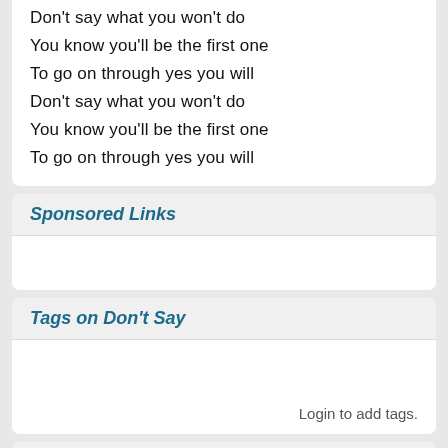Don't say what you won't do
You know you'll be the first one
To go on through yes you will
Don't say what you won't do
You know you'll be the first one
To go on through yes you will
Sponsored Links
Tags on Don't Say
Login to add tags.
Popularity Don't Say